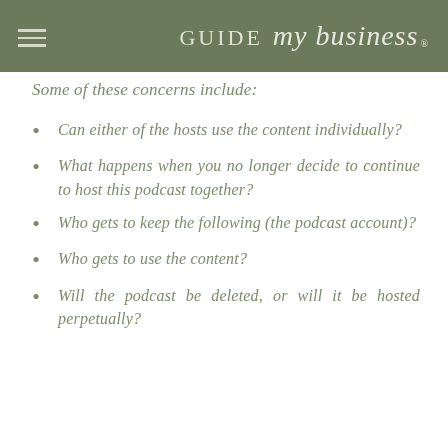GUIDE my business ®
Some of these concerns include:
Can either of the hosts use the content individually?
What happens when you no longer decide to continue to host this podcast together?
Who gets to keep the following (the podcast account)?
Who gets to use the content?
Will the podcast be deleted, or will it be hosted perpetually?